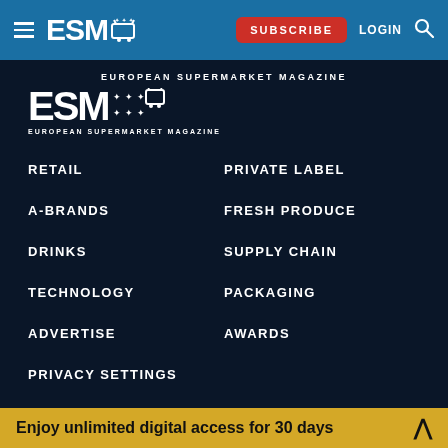ESM European Supermarket Magazine — SUBSCRIBE LOGIN
[Figure (logo): ESM European Supermarket Magazine logo in white on dark navy background]
RETAIL
PRIVATE LABEL
A-BRANDS
FRESH PRODUCE
DRINKS
SUPPLY CHAIN
TECHNOLOGY
PACKAGING
ADVERTISE
AWARDS
PRIVACY SETTINGS
Enjoy unlimited digital access for 30 days